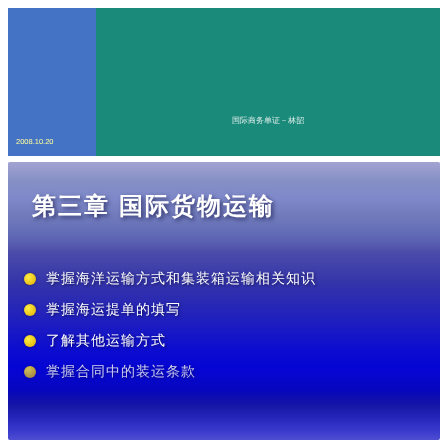2008.10.20
国际商务单证－林韶
第三章 国际货物运输
掌握海洋运输方式和集装箱运输相关知识
掌握海运提单的填写
了解其他运输方式
掌握合同中的装运条款